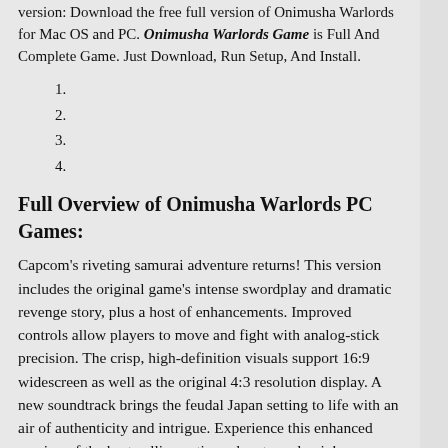version: Download the free full version of Onimusha Warlords for Mac OS and PC. Onimusha Warlords Game is Full And Complete Game. Just Download, Run Setup, And Install.
1.
2.
3.
4.
Full Overview of Onimusha Warlords PC Games:
Capcom’s riveting samurai adventure returns! This version includes the original game’s intense swordplay and dramatic revenge story, plus a host of enhancements. Improved controls allow players to move and fight with analog-stick precision. The crisp, high-definition visuals support 16:9 widescreen as well as the original 4:3 resolution display. A new soundtrack brings the feudal Japan setting to life with an air of authenticity and intrigue. Experience this enhanced version of the best-selling action-adventure classic!